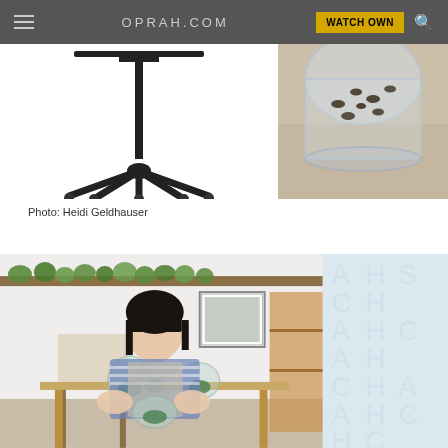OPRAH.COM | WATCH OWN
[Figure (photo): IV stand / medical pole on white background (left), glass jar with seeds close-up on sandy surface (right) — two product/lifestyle photos side by side]
Photo: Heidi Geldhauser
[Figure (photo): Woman with dark bob haircut wearing striped shirt and apron, sitting at a wooden table holding a glass terrarium with succulents; shelves with plants in background; decorative blue-grey letter pattern overlay on right side]